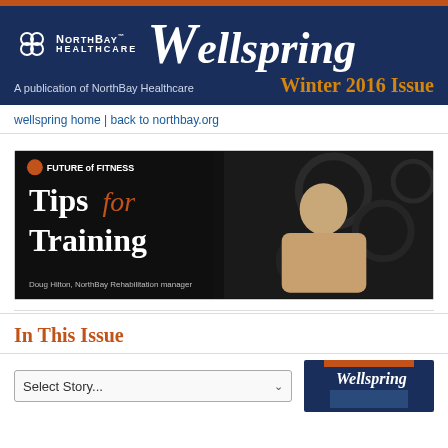Wellspring — Winter 2016 Issue — A publication of NorthBay Healthcare
wellspring home | back to northbay.org
[Figure (photo): Feature image banner reading 'Tips for Training' with a man in a tan shirt leaning on gym equipment. Text overlay reads 'FUTURE of FITNESS' and caption reads 'Doug Hilton, NorthBay Rehabilitation manager'.]
In This Issue
Select Story...